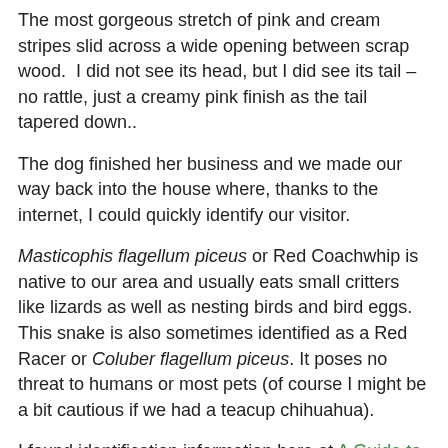The most gorgeous stretch of pink and cream stripes slid across a wide opening between scrap wood.  I did not see its head, but I did see its tail – no rattle, just a creamy pink finish as the tail tapered down..
The dog finished her business and we made our way back into the house where, thanks to the internet, I could quickly identify our visitor.
Masticophis flagellum piceus or Red Coachwhip is native to our area and usually eats small critters like lizards as well as nesting birds and bird eggs.  This snake is also sometimes identified as a Red Racer or Coluber flagellum piceus. It poses no threat to humans or most pets (of course I might be a bit cautious if we had a teacup chihuahua).
I found identification information here at A Guide to the Amphibians and Reptiles of California. I had no camera with me, but this photo from the same site is aringer but I...